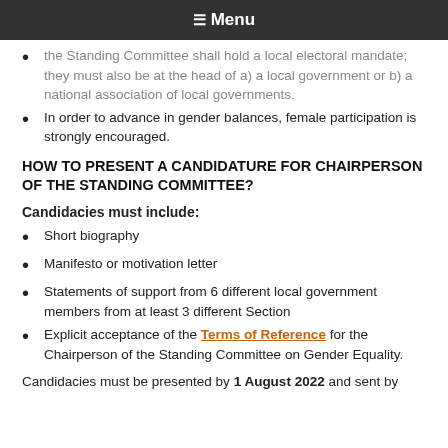☰ Menu
the Standing Committee shall hold a local electoral mandate; they must also be at the head of a) a local government or b) a national association of local governments.
In order to advance in gender balances, female participation is strongly encouraged.
HOW TO PRESENT A CANDIDATURE FOR CHAIRPERSON OF THE STANDING COMMITTEE?
Candidacies must include:
Short biography
Manifesto or motivation letter
Statements of support from 6 different local government members from at least 3 different Section
Explicit acceptance of the Terms of Reference for the Chairperson of the Standing Committee on Gender Equality.
Candidacies must be presented by 1 August 2022 and sent by